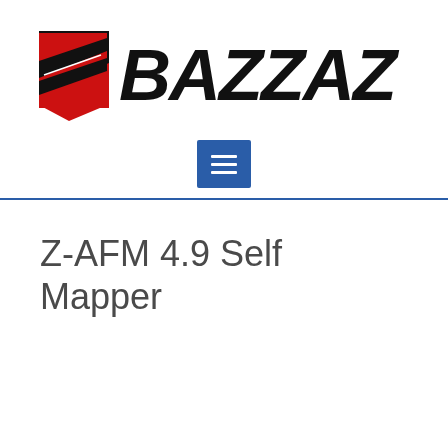[Figure (logo): BAZZAZ logo with red and black design featuring a racing stripe motif and bold block lettering]
[Figure (other): Blue square navigation menu button with three white horizontal lines (hamburger icon)]
Z-AFM 4.9 Self Mapper